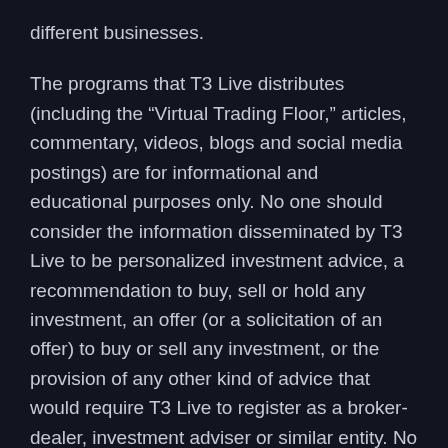different businesses.
The programs that T3 Live distributes (including the “Virtual Trading Floor,” articles, commentary, videos, blogs and social media postings) are for informational and educational purposes only. No one should consider the information disseminated by T3 Live to be personalized investment advice, a recommendation to buy, sell or hold any investment, an offer (or a solicitation of an offer) to buy or sell any investment, or the provision of any other kind of advice that would require T3 Live to register as a broker-dealer, investment adviser or similar entity. No one associated with T3 Live is authorized to make any representation to the contrary.
T3 Live provides information that viewers of its